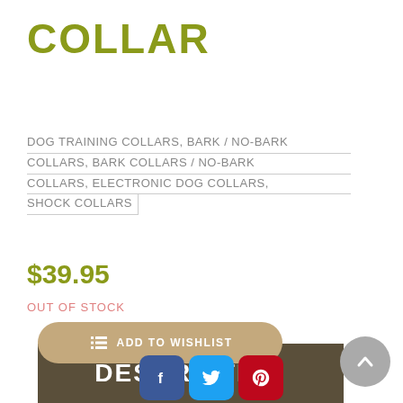COLLAR
DOG TRAINING COLLARS, BARK / NO-BARK COLLARS, BARK COLLARS / NO-BARK COLLARS, ELECTRONIC DOG COLLARS, SHOCK COLLARS
$39.95
OUT OF STOCK
[Figure (screenshot): Add to Wishlist button (tan/beige rounded rectangle) with list icon and text, overlapping Facebook, Twitter, Pinterest social share buttons]
SKU: SBC-6
[Figure (screenshot): Dark brown/olive banner bar with large bold white text reading DESCRIPTION]
[Figure (illustration): Gray circular scroll-to-top button with white upward chevron arrow]